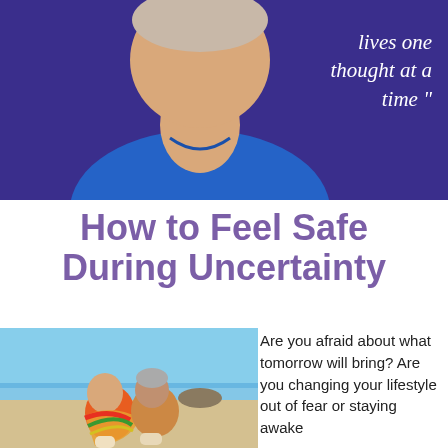[Figure (photo): Elderly woman in blue shirt against dark purple background, with italic quote text overlay reading 'lives one thought at a time"']
How to Feel Safe During Uncertainty
[Figure (photo): Couple sitting on a sandy beach together wrapped in a colorful blanket]
Are you afraid about what tomorrow will bring? Are you changing your lifestyle out of fear or staying awake